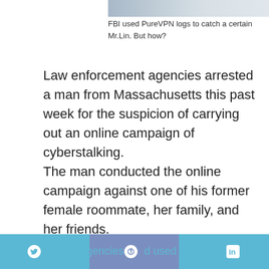[Figure (photo): Partial photo at the top of the page showing a person in dark clothing]
FBI used PureVPN logs to catch a certain Mr.Lin. But how?
Law enforcement agencies arrested a man from Massachusetts this past week for the suspicion of carrying out an online campaign of cyberstalking.
The man conducted the online campaign against one of his former female roommate, her family, and her friends.
Court documents also revealed that law enforcement agencies used logs to find out
enforcement agencies used logs to find out